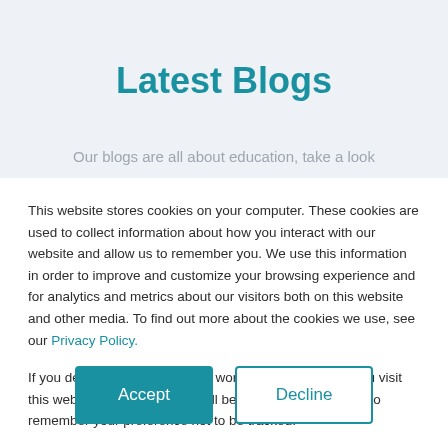Latest Blogs
Our blogs are all about education, take a look
This website stores cookies on your computer. These cookies are used to collect information about how you interact with our website and allow us to remember you. We use this information in order to improve and customize your browsing experience and for analytics and metrics about our visitors both on this website and other media. To find out more about the cookies we use, see our Privacy Policy.
If you decline, your information won't be tracked when you visit this website. A single cookie will be used in your browser to remember your preference not to be tracked.
Accept
Decline